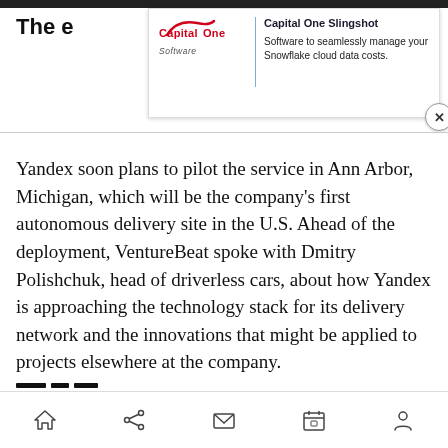The e…
[Figure (screenshot): Capital One Software advertisement banner. Shows Capital One Software logo on the left with a blue vertical divider, and on the right: headline 'Capital One Slingshot' with subtext 'Software to seamlessly manage your Snowflake cloud data costs.' A close button (X) is visible at the bottom right of the banner.]
Yandex soon plans to pilot the service in Ann Arbor, Michigan, which will be the company's first autonomous delivery site in the U.S. Ahead of the deployment, VentureBeat spoke with Dmitry Polishchuk, head of driverless cars, about how Yandex is approaching the technology stack for its delivery network and the innovations that might be applied to projects elsewhere at the company.
Navigation bar with home, share, mail, calendar, and profile icons